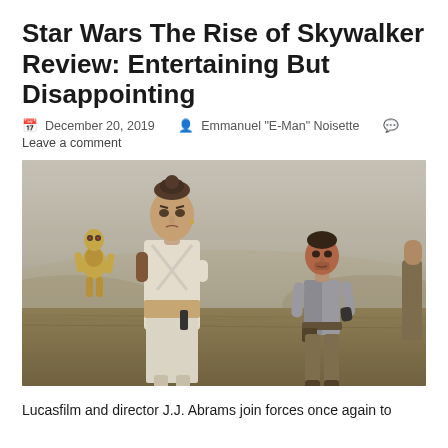Star Wars The Rise of Skywalker Review: Entertaining But Disappointing
December 20, 2019 · Emmanuel "E-Man" Noisette · Leave a comment
[Figure (photo): Scene from Star Wars The Rise of Skywalker showing Rey in the foreground wearing a white outfit with a brown arm wrap, C-3PO in the background left, and Poe Dameron standing in the background right, all on a grassy field with a misty sky.]
Lucasfilm and director J.J. Abrams join forces once again to